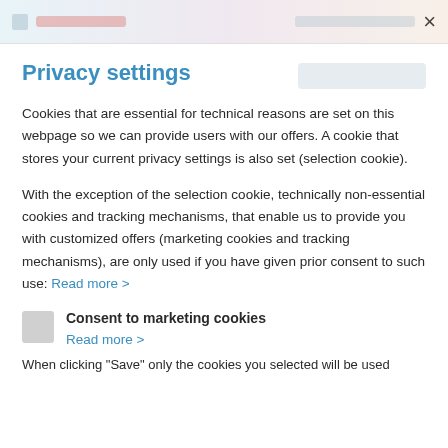[browser navigation bar with close button ×]
Privacy settings
Cookies that are essential for technical reasons are set on this webpage so we can provide users with our offers. A cookie that stores your current privacy settings is also set (selection cookie).
With the exception of the selection cookie, technically non-essential cookies and tracking mechanisms, that enable us to provide you with customized offers (marketing cookies and tracking mechanisms), are only used if you have given prior consent to such use: Read more >
Consent to marketing cookies
Read more >
When clicking "Save" only the cookies you selected will be used